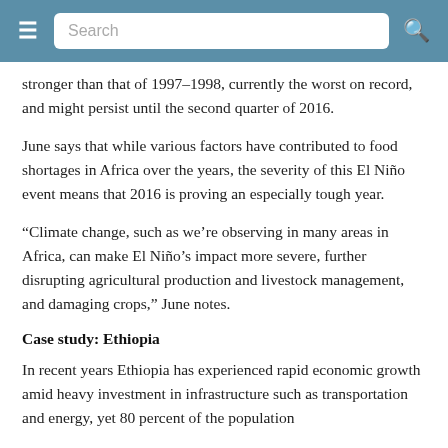Search
stronger than that of 1997–1998, currently the worst on record, and might persist until the second quarter of 2016.
June says that while various factors have contributed to food shortages in Africa over the years, the severity of this El Niño event means that 2016 is proving an especially tough year.
“Climate change, such as we’re observing in many areas in Africa, can make El Niño’s impact more severe, further disrupting agricultural production and livestock management, and damaging crops,” June notes.
Case study: Ethiopia
In recent years Ethiopia has experienced rapid economic growth amid heavy investment in infrastructure such as transportation and energy, yet 80 percent of the population